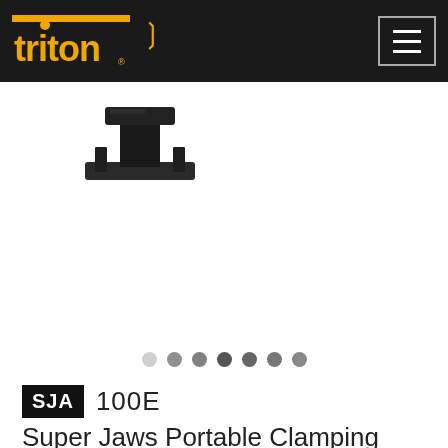triton SJA 100E
[Figure (photo): Triton SJA 100E product image - a small black clamping device viewed from above on a white background]
SJA 100E
Super Jaws Portable Clamping